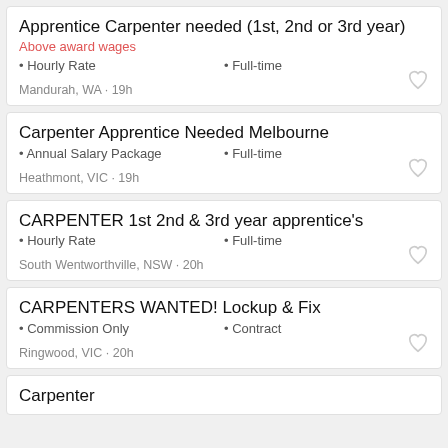Apprentice Carpenter needed (1st, 2nd or 3rd year)
Above award wages
• Hourly Rate   • Full-time
Mandurah, WA · 19h
Carpenter Apprentice Needed Melbourne
• Annual Salary Package   • Full-time
Heathmont, VIC · 19h
CARPENTER 1st 2nd & 3rd year apprentice's
• Hourly Rate   • Full-time
South Wentworthville, NSW · 20h
CARPENTERS WANTED! Lockup & Fix
• Commission Only   • Contract
Ringwood, VIC · 20h
Carpenter